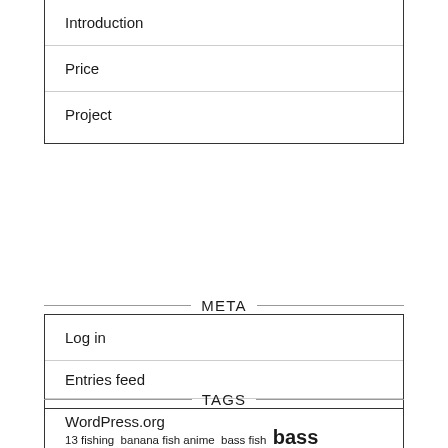Introduction
Price
Project
META
Log in
Entries feed
WordPress.org
TAGS
13 fishing  banana fish anime  bass fish  bass fishing  cod fish  crappie